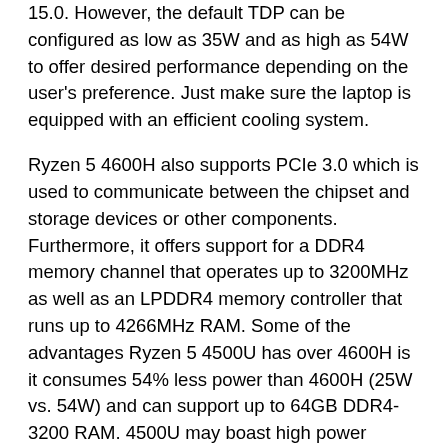15.0. However, the default TDP can be configured as low as 35W and as high as 54W to offer desired performance depending on the user's preference. Just make sure the laptop is equipped with an efficient cooling system.
Ryzen 5 4600H also supports PCIe 3.0 which is used to communicate between the chipset and storage devices or other components. Furthermore, it offers support for a DDR4 memory channel that operates up to 3200MHz as well as an LPDDR4 memory controller that runs up to 4266MHz RAM. Some of the advantages Ryzen 5 4500U has over 4600H is it consumes 54% less power than 4600H (25W vs. 54W) and can support up to 64GB DDR4-3200 RAM. 4500U may boast high power efficiency over 4600H but, performance-wise, 4600H wins when all its cores are involved. According to Cinebench R23, 4600H scores 33% higher in multicore performance when compared to 4500U and 2% higher than 4600U.